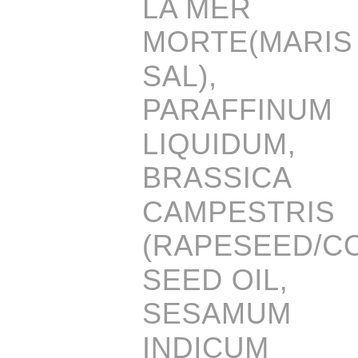LA MER MORTE(MARIS SAL), PARAFFINUM LIQUIDUM, BRASSICA CAMPESTRIS (RAPESEED/COLZA) SEED OIL, SESAMUM INDICUM (SESAME/SÉSAME) SEED OIL, GLYCERIN/GLYCÉRINE, ISOPROPYL MYRISTATE, VITIS VINIFERA (GRAPE/PÉPINS DE RAISIN) SEED OIL, FRAGRANCE/PARFUM, BORAGO OFFICINALIS